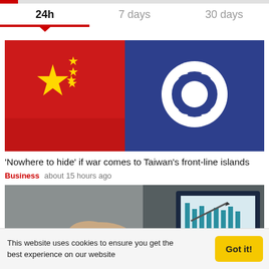24h  7 days  30 days
[Figure (photo): Chinese flag and Taiwan flag side by side, close-up photograph]
'Nowhere to hide' if war comes to Taiwan's front-line islands
Business   about 15 hours ago
[Figure (photo): Business person pointing at a chart/graph on a tablet or folder, with bar chart visible]
This website uses cookies to ensure you get the best experience on our website